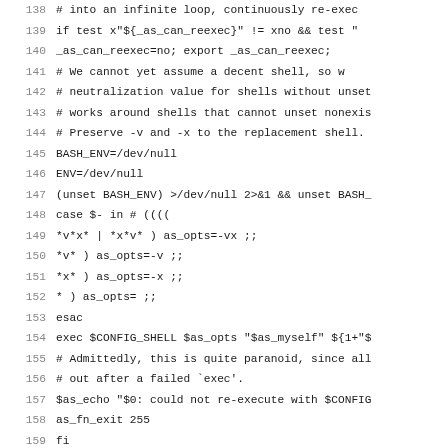Code listing lines 138-159, shell script (configure/autoconf)
138    # into an infinite loop, continuously re-exec
139    if test x"${_as_can_reexec}" != xno && test "
140      _as_can_reexec=no; export _as_can_reexec;
141      # We cannot yet assume a decent shell, so w
142    # neutralization value for shells without unset
143    # works around shells that cannot unset nonexis
144    # Preserve -v and -x to the replacement shell.
145    BASH_ENV=/dev/null
146    ENV=/dev/null
147    (unset BASH_ENV) >/dev/null 2>&1 && unset BASH_
148    case $- in # ((((
149      *v*x* | *x*v* ) as_opts=-vx ;;
150      *v* ) as_opts=-v ;;
151      *x* ) as_opts=-x ;;
152      * ) as_opts= ;;
153    esac
154    exec $CONFIG_SHELL $as_opts "$as_myself" ${1+"$
155    # Admittedly, this is quite paranoid, since all
156    # out after a failed `exec'.
157    $as_echo "$0: could not re-execute with $CONFIG
158    as_fn_exit 255
159    fi